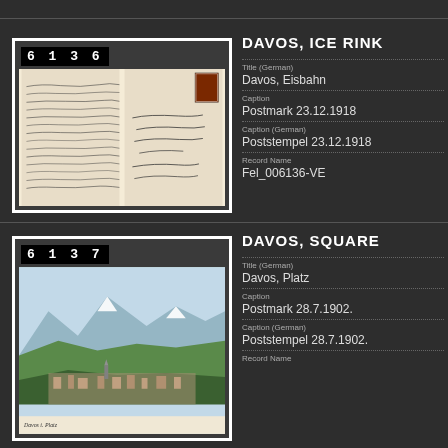[Figure (photo): Postcard number 6136 showing handwritten letter back with stamp, dark background, white border]
DAVOS, ICE RINK
Title (German)
Davos, Eisbahn
Caption
Postmark 23.12.1918
Caption (German)
Poststempel 23.12.1918
Record Name
Fel_006136-VE
[Figure (photo): Postcard number 6137 showing alpine village panorama with mountains, Davos Platz]
DAVOS, SQUARE
Title (German)
Davos, Platz
Caption
Postmark 28.7.1902.
Caption (German)
Poststempel 28.7.1902.
Record Name